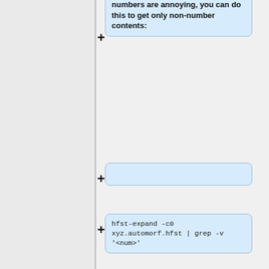numbers are annoying, you can do this to get only non-number contents:
(empty box / collapsed item)
hfst-expand -c0 xyz.automorf.hfst | grep -v '<num>'
(empty box / collapsed item)
Likewise, you can focus on a particular part of speech, e.g. {{tag|n}}s:
(empty box / collapsed item)
hfst-expand -c0